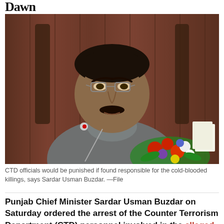Dawn
[Figure (photo): A man in a grey suit sitting in an ornate chair speaking into a microphone with a red light, with flowers in front of him. This is Sardar Usman Buzdar.]
CTD officials would be punished if found responsible for the cold-blooded killings, says Sardar Usman Buzdar. —File
Punjab Chief Minister Sardar Usman Buzdar on Saturday ordered the arrest of the Counter Terrorism Department (CTD) personnel involved in the alleged shootout in Sahiwal